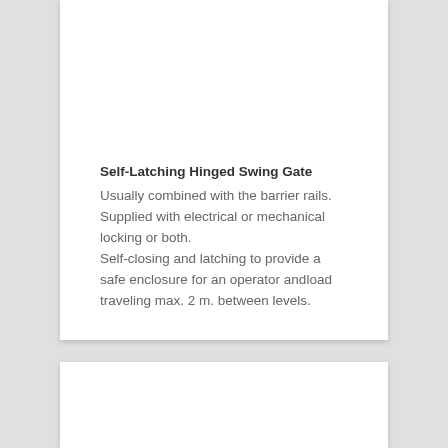Self-Latching Hinged Swing Gate
Usually combined with the barrier rails. Supplied with electrical or mechanical locking or both.
Self-closing and latching to provide a safe enclosure for an operator andload traveling max. 2 m. between levels.